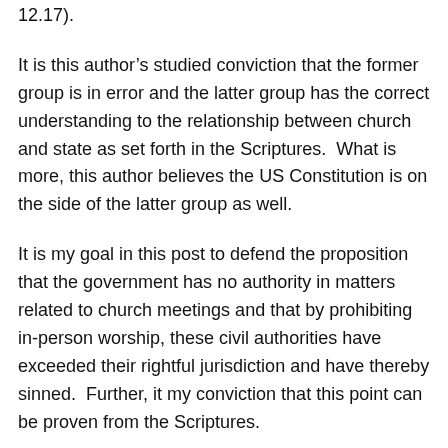12.17).
It is this author's studied conviction that the former group is in error and the latter group has the correct understanding to the relationship between church and state as set forth in the Scriptures.  What is more, this author believes the US Constitution is on the side of the latter group as well.
It is my goal in this post to defend the proposition that the government has no authority in matters related to church meetings and that by prohibiting in-person worship, these civil authorities have exceeded their rightful jurisdiction and have thereby sinned.  Further, it my conviction that this point can be proven from the Scriptures.
Before proceeding, it is worth noting what this argument is not as well as what it is.  This argument is not that